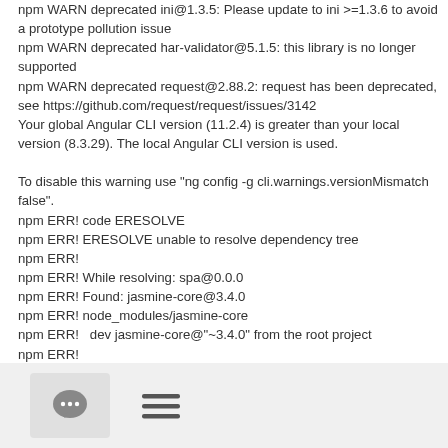npm WARN deprecated ini@1.3.5: Please update to ini >=1.3.6 to avoid a prototype pollution issue
npm WARN deprecated har-validator@5.1.5: this library is no longer supported
npm WARN deprecated request@2.88.2: request has been deprecated, see https://github.com/request/request/issues/3142
Your global Angular CLI version (11.2.4) is greater than your local version (8.3.29). The local Angular CLI version is used.

To disable this warning use "ng config -g cli.warnings.versionMismatch false".
npm ERR! code ERESOLVE
npm ERR! ERESOLVE unable to resolve dependency tree
npm ERR!
npm ERR! While resolving: spa@0.0.0
npm ERR! Found: jasmine-core@3.4.0
npm ERR! node_modules/jasmine-core
npm ERR!   dev jasmine-core@"~3.4.0" from the root project
npm ERR!
npm ERR! Could not resolve dependency
[Figure (other): Bottom navigation bar with a chat bubble icon in a rounded rectangle button and a hamburger menu icon]